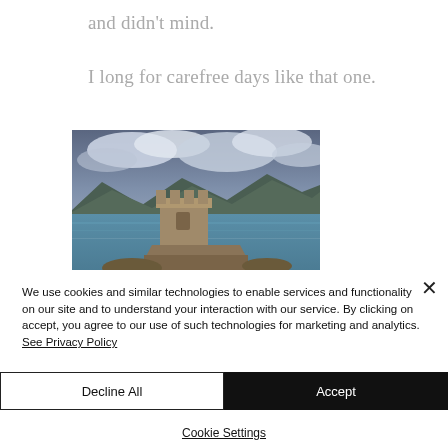and didn't mind.
I long for carefree days like that one.
[Figure (photo): Photograph of an ancient stone tower/fortress on the water's edge with mountains and a dramatic cloudy sky in the background, blue-grey sea in the middle ground.]
We use cookies and similar technologies to enable services and functionality on our site and to understand your interaction with our service. By clicking on accept, you agree to our use of such technologies for marketing and analytics. See Privacy Policy
Decline All
Accept
Cookie Settings